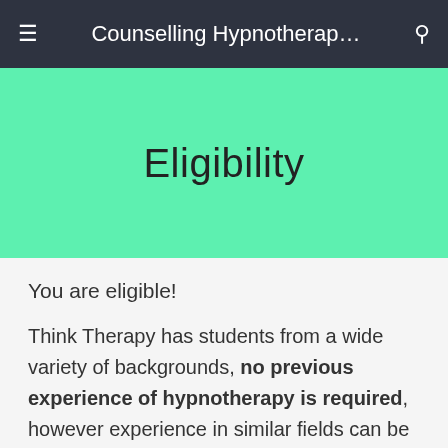≡  Counselling Hypnotherap…  🔍
Eligibility
You are eligible!
Think Therapy has students from a wide variety of backgrounds, no previous experience of hypnotherapy is required, however experience in similar fields can be beneficial, particularly if you have practitioner experience in areas such as counselling or psychotherapy, suitable experience in working with people in another relevant profession e.g. complimentary therapies